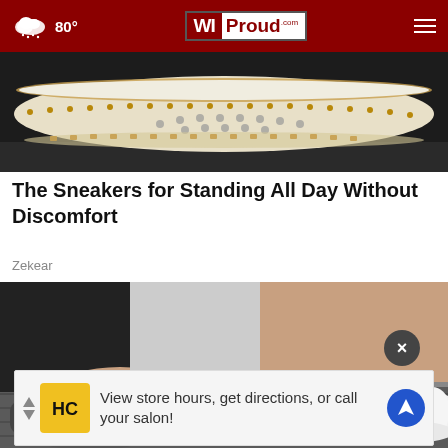WIProud.com — 80°
[Figure (photo): Close-up of a white sneaker sole with gold trim and decorative perforations, viewed from the side on a dark background.]
The Sneakers for Standing All Day Without Discomfort
Zekear
[Figure (photo): Person wearing black pants and white mesh sneakers, close-up of feet on a wooden floor surface. Grayscale photo.]
View store hours, get directions, or call your salon!